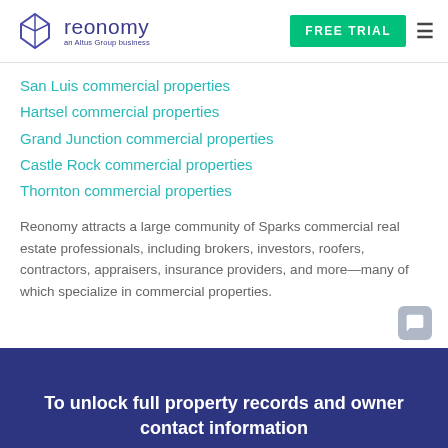reonomy — an Altus Group business | FREE TRIAL
San Luis commercial properties
Hartsel commercial properties
Grand Junction commercial properties
Castle Rock commercial properties
Thornton commercial properties
Reonomy attracts a large community of Sparks commercial real estate professionals, including brokers, investors, roofers, contractors, appraisers, insurance providers, and more—many of which specialize in commercial properties.
To unlock full property records and owner contact information